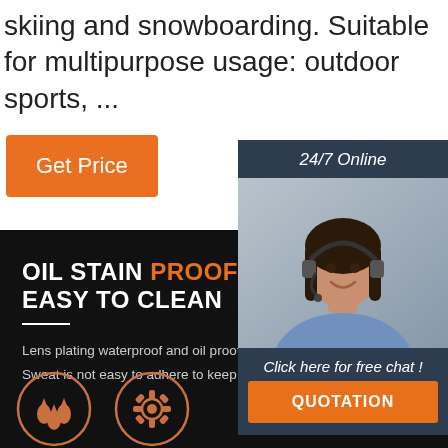skiing and snowboarding. Suitable for multipurpose usage: outdoor sports, ...
Get Price
[Figure (photo): 24/7 Online customer support widget showing a smiling woman wearing a headset, with a dark blue-gray background, 'Click here for free chat!' text, and an orange QUOTATION button]
OIL STAIN PROOF AND EASY TO CLEAN
Lens plating waterproof and oil proof film
Sweat is not easy to adhere to keep the lens clear
[Figure (logo): TOP logo in orange with decorative dots above it]
[Figure (illustration): Two circular icons: water drops icon and a gear/settings icon, both in orange outline on dark background]